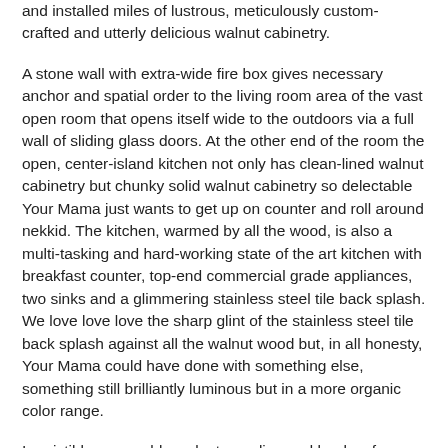and installed miles of lustrous, meticulously custom-crafted and utterly delicious walnut cabinetry.
A stone wall with extra-wide fire box gives necessary anchor and spatial order to the living room area of the vast open room that opens itself wide to the outdoors via a full wall of sliding glass doors. At the other end of the room the open, center-island kitchen not only has clean-lined walnut cabinetry but chunky solid walnut cabinetry so delectable Your Mama just wants to get up on counter and roll around nekkid. The kitchen, warmed by all the wood, is also a multi-tasking and hard-working state of the art kitchen with breakfast counter, top-end commercial grade appliances, two sinks and a glimmering stainless steel tile back splash. We love love love the sharp glint of the stainless steel tile back splash against all the walnut wood but, in all honesty, Your Mama could have done with something else, something still brilliantly luminous but in a more organic color range.
Irresistibly caressable walnut paneling and banks of walnut-faced closets envelop both of the bedrooms. The smaller bedroom has a built in desk and the much larger master